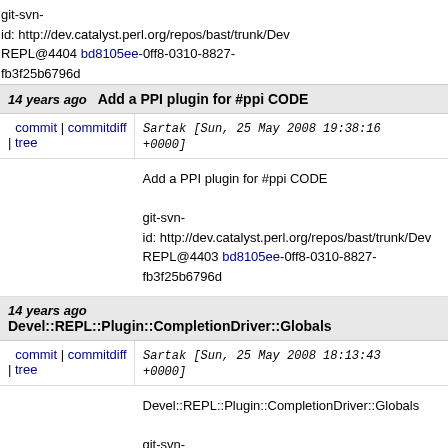git-svn-id: http://dev.catalyst.perl.org/repos/bast/trunk/Dev REPL@4404 bd8105ee-0ff8-0310-8827-fb3f25b6796d
14 years ago Add a PPI plugin for #ppi CODE
commit | commitdiff | tree Sartak [Sun, 25 May 2008 19:38:16 +0000]
Add a PPI plugin for #ppi CODE

git-svn-id: http://dev.catalyst.perl.org/repos/bast/trunk/Dev REPL@4403 bd8105ee-0ff8-0310-8827-fb3f25b6796d
14 years ago Devel::REPL::Plugin::CompletionDriver::Globals
commit | commitdiff | tree Sartak [Sun, 25 May 2008 18:13:43 +0000]
Devel::REPL::Plugin::CompletionDriver::Globals

git-svn-id: http://dev.catalyst.perl.org/repos/bast/trunk/Dev REPL@4402 bd8105ee-0ff8-0310-8827-fb3f25b6796d